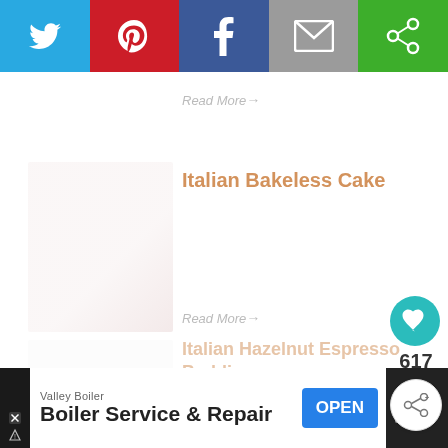[Figure (other): Social sharing bar with Twitter (blue), Pinterest (red), Facebook (dark blue), Email (grey), and a green share icon button]
Read More →
[Figure (photo): Thumbnail image for Italian Bakeless Cake article, showing a pale pink/white baked good]
Italian Bakeless Cake
Read More →
Italian Hazelnut Espresso Pudding
[Figure (other): Heart/like button circle in teal with count 617 below, and a share button circle below that]
[Figure (other): What's Next panel with thumbnail of Mandarin Orange Cake]
WHAT'S NEXT →
Mandarin Orange Cake
[Figure (other): Advertisement bar at bottom: Valley Boiler – Boiler Service & Repair with OPEN button and Moat logo]